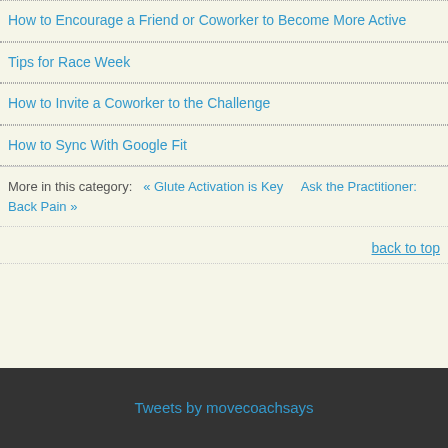How to Encourage a Friend or Coworker to Become More Active
Tips for Race Week
How to Invite a Coworker to the Challenge
How to Sync With Google Fit
More in this category:   « Glute Activation is Key   Ask the Practitioner: Back Pain »
back to top
Tweets by movecoachsays